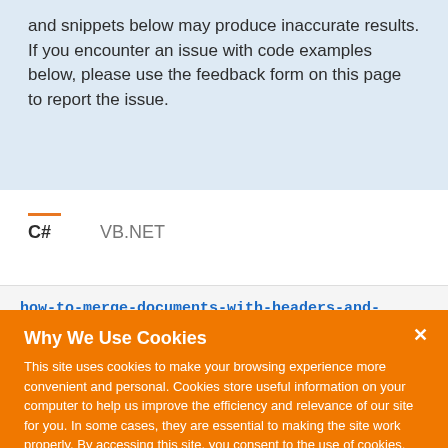and snippets below may produce inaccurate results. If you encounter an issue with code examples below, please use the feedback form on this page to report the issue.
C#	VB.NET
how-to-merge-documents-with-headers-and-
Why We Use Cookies
This site uses cookies to make your browsing experience more convenient and personal. Cookies store useful information on your computer to help us improve the efficiency and relevance of our site for you. In some cases, they are essential to making the site work properly. By accessing this site, you consent to the use of cookies. For more information, refer to DevExpress' privacy policy and cookie policy.
I UNDERSTAND